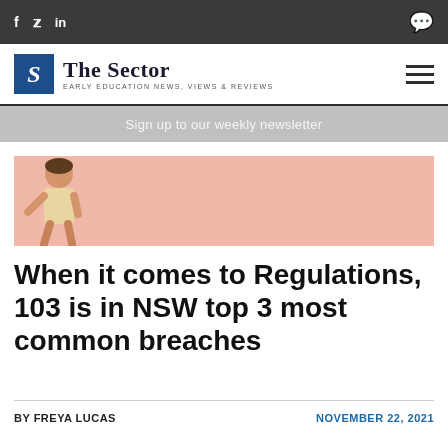f  🐦  in  [comment icon]
[Figure (logo): The Sector logo — blue square with S, text: The Sector, Early Education News, Views & Reviews]
Sign up to our weekly newsletter
[Figure (photo): Pink/peach banner with a young girl standing on the left side]
When it comes to Regulations, 103 is in NSW top 3 most common breaches
BY FREYA LUCAS
NOVEMBER 22, 2021